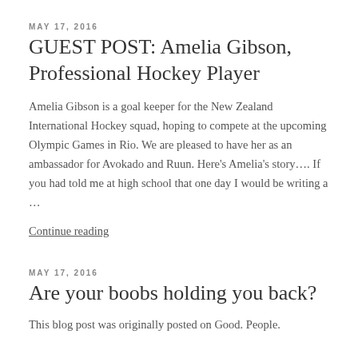MAY 17, 2016
GUEST POST: Amelia Gibson, Professional Hockey Player
Amelia Gibson is a goal keeper for the New Zealand International Hockey squad, hoping to compete at the upcoming Olympic Games in Rio. We are pleased to have her as an ambassador for Avokado and Ruun. Here's Amelia's story…. If you had told me at high school that one day I would be writing a …
Continue reading
MAY 17, 2016
Are your boobs holding you back?
This blog post was originally posted on Good. People.